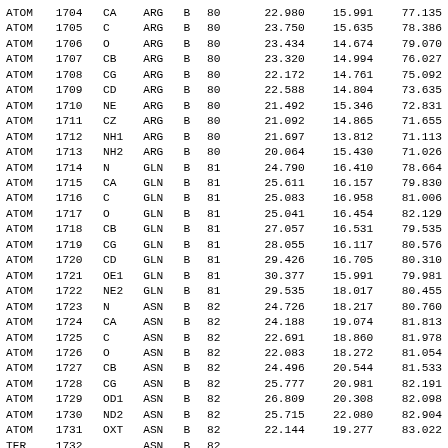| Record | Serial | Name | ResName | Chain | ResSeq | X | Y | Z |
| --- | --- | --- | --- | --- | --- | --- | --- | --- |
| ATOM | 1704 | CA | ARG | B | 80 | 22.980 | 15.991 | 77.135 |
| ATOM | 1705 | C | ARG | B | 80 | 23.750 | 15.635 | 78.386 |
| ATOM | 1706 | O | ARG | B | 80 | 23.434 | 14.674 | 79.070 |
| ATOM | 1707 | CB | ARG | B | 80 | 23.320 | 14.994 | 76.027 |
| ATOM | 1708 | CG | ARG | B | 80 | 22.172 | 14.761 | 75.092 |
| ATOM | 1709 | CD | ARG | B | 80 | 22.588 | 14.804 | 73.635 |
| ATOM | 1710 | NE | ARG | B | 80 | 21.492 | 15.346 | 72.831 |
| ATOM | 1711 | CZ | ARG | B | 80 | 21.092 | 14.865 | 71.655 |
| ATOM | 1712 | NH1 | ARG | B | 80 | 21.697 | 13.812 | 71.113 |
| ATOM | 1713 | NH2 | ARG | B | 80 | 20.064 | 15.430 | 71.026 |
| ATOM | 1714 | N | GLN | B | 81 | 24.790 | 16.410 | 78.664 |
| ATOM | 1715 | CA | GLN | B | 81 | 25.611 | 16.157 | 79.830 |
| ATOM | 1716 | C | GLN | B | 81 | 25.083 | 16.958 | 81.006 |
| ATOM | 1717 | O | GLN | B | 81 | 25.041 | 16.454 | 82.129 |
| ATOM | 1718 | CB | GLN | B | 81 | 27.057 | 16.531 | 79.535 |
| ATOM | 1719 | CG | GLN | B | 81 | 28.055 | 16.117 | 80.576 |
| ATOM | 1720 | CD | GLN | B | 81 | 29.426 | 16.705 | 80.310 |
| ATOM | 1721 | OE1 | GLN | B | 81 | 30.377 | 15.991 | 79.981 |
| ATOM | 1722 | NE2 | GLN | B | 81 | 29.535 | 18.017 | 80.455 |
| ATOM | 1723 | N | ASN | B | 82 | 24.726 | 18.217 | 80.760 |
| ATOM | 1724 | CA | ASN | B | 82 | 24.188 | 19.074 | 81.813 |
| ATOM | 1725 | C | ASN | B | 82 | 22.691 | 18.860 | 81.978 |
| ATOM | 1726 | O | ASN | B | 82 | 22.083 | 18.272 | 81.054 |
| ATOM | 1727 | CB | ASN | B | 82 | 24.496 | 20.544 | 81.533 |
| ATOM | 1728 | CG | ASN | B | 82 | 25.777 | 20.981 | 82.191 |
| ATOM | 1729 | OD1 | ASN | B | 82 | 26.809 | 20.308 | 82.098 |
| ATOM | 1730 | ND2 | ASN | B | 82 | 25.715 | 22.080 | 82.904 |
| ATOM | 1731 | OXT | ASN | B | 82 | 22.144 | 19.277 | 83.022 |
| TER | 1732 |  | ASN | B | 82 |  |  |  |
| END |  |  |  |  |  |  |  |  |